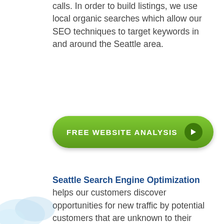calls. In order to build listings, we use local organic searches which allow our SEO techniques to target keywords in and around the Seattle area.
[Figure (other): Green pill-shaped button with text FREE WEBSITE ANALYSIS and a right-arrow icon in a dark green circle]
Seattle Search Engine Optimization helps our customers discover opportunities for new traffic by potential customers that are unknown to their competitors through our exhaustive SEO keyword research. The webpages of our customer's website will contain optimized descriptions, titles, and keywords that will help them capture keywords both nationally and in the Seattle area. The correct weighting for each keyword on each webpage is determined by our